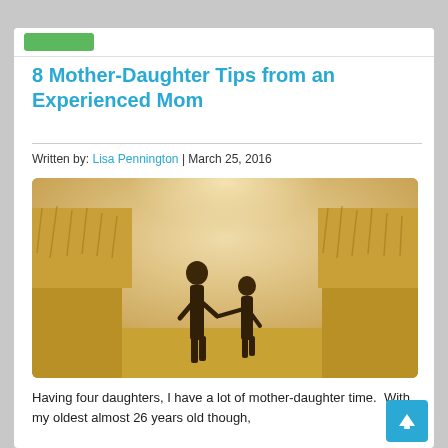8 Mother-Daughter Tips from an Experienced Mom
Written by: Lisa Pennington | March 25, 2016
[Figure (photo): A mother and daughter walking hand-in-hand along a path through tall golden grass fields, viewed from behind, sepia/warm toned photograph.]
Having four daughters, I have a lot of mother-daughter time.  With my oldest almost 26 years old though,